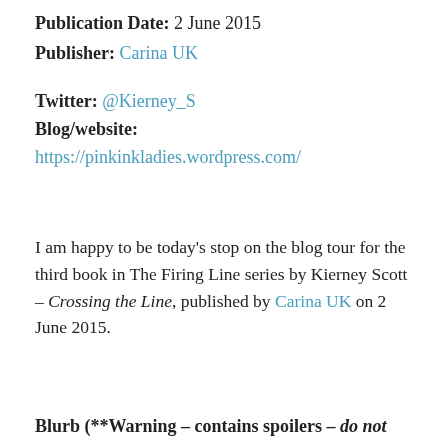Publication Date: 2 June 2015
Publisher: Carina UK
Twitter: @Kierney_S
Blog/website:
https://pinkinkladies.wordpress.com/
I am happy to be today’s stop on the blog tour for the third book in The Firing Line series by Kierney Scott – Crossing the Line, published by Carina UK on 2 June 2015.
Blurb (**Warning – contains spoilers – do not